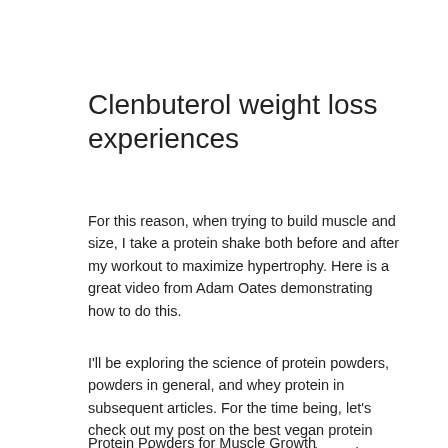Clenbuterol weight loss experiences
For this reason, when trying to build muscle and size, I take a protein shake both before and after my workout to maximize hypertrophy. Here is a great video from Adam Oates demonstrating how to do this.
I'll be exploring the science of protein powders, powders in general, and whey protein in subsequent articles. For the time being, let's check out my post on the best vegan protein powders from around the web, clenbuterol weight loss uk.
Protein Powders for Muscle Growth